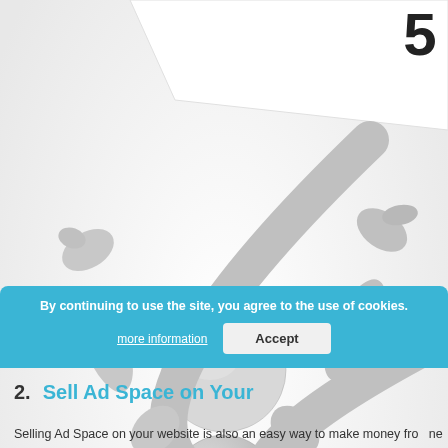[Figure (illustration): 3D rendered white/grey cartoon figure holding up a large white sign/board overhead with both hands raised, legs spread wide. Background is white/light grey gradient. Partial number visible in top right corner.]
By continuing to use the site, you agree to the use of cookies. more information  Accept
2.  Sell Ad Space on Your...
Selling Ad Space on your website is also an easy way to make money fro... ne